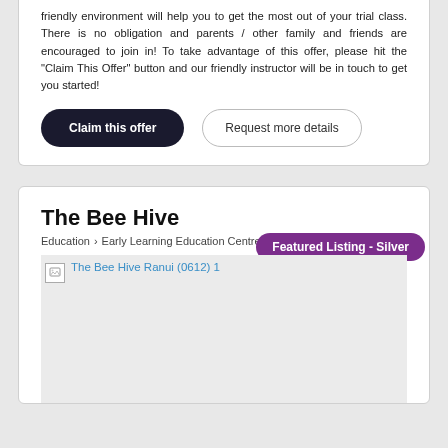friendly environment will help you to get the most out of your trial class. There is no obligation and parents / other family and friends are encouraged to join in! To take advantage of this offer, please hit the "Claim This Offer" button and our friendly instructor will be in touch to get you started!
Claim this offer
Request more details
The Bee Hive
Education > Early Learning Education Centres
Featured Listing - Silver
[Figure (photo): Broken image placeholder showing 'The Bee Hive Ranui (0612) 1' as link text on a light grey background]